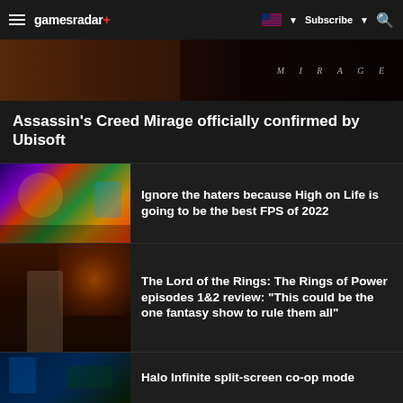gamesradar+  Subscribe
[Figure (screenshot): Dark hero banner with 'MIRAGE' text on right side — Assassin's Creed Mirage game art]
Assassin's Creed Mirage officially confirmed by Ubisoft
[Figure (screenshot): Colorful game screenshot from High on Life — vibrant alien landscape with character holding a weapon]
Ignore the haters because High on Life is going to be the best FPS of 2022
[Figure (screenshot): The Lord of the Rings: Rings of Power — fantasy scene with female elf character in armor with fiery background]
The Lord of the Rings: The Rings of Power episodes 1&2 review: "This could be the one fantasy show to rule them all"
[Figure (screenshot): Halo Infinite screenshot — dark scene with Halo character]
Halo Infinite split-screen co-op mode